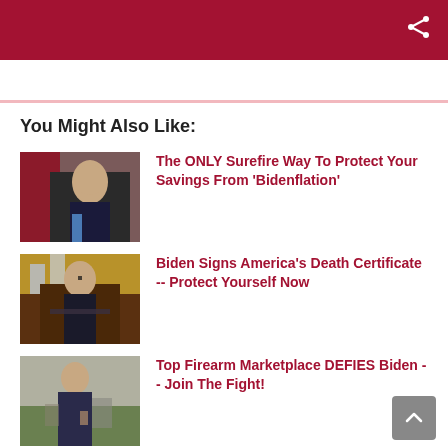You Might Also Like:
[Figure (photo): Photo of Joe Biden speaking at a podium]
The ONLY Surefire Way To Protect Your Savings From 'Bidenflation'
[Figure (photo): Photo of Joe Biden seated at the Oval Office desk wearing a mask]
Biden Signs America's Death Certificate -- Protect Yourself Now
[Figure (photo): Photo of Joe Biden standing holding an object]
Top Firearm Marketplace DEFIES Biden -- Join The Fight!
[Figure (photo): Partial photo of Biden]
What Grade Would You